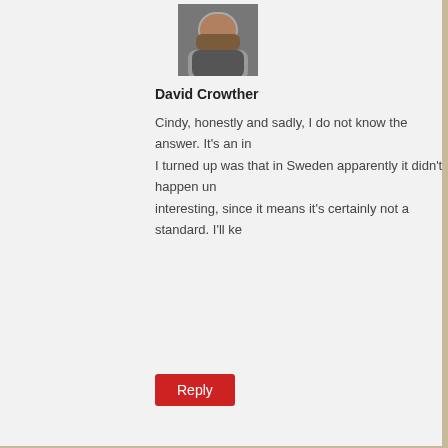[Figure (photo): Avatar photo of David Crowther, a man with a beard]
David Crowther
Cindy, honestly and sadly, I do not know the answer. It's an in
I turned up was that in Sweden apparently it didn't happen un
interesting, since it means it's certainly not a standard. I'll ke
Reply
October 23, 2017 at 11:55 pm
[Figure (photo): Generic grey avatar silhouette for Caitlin Chapman]
Caitlin Chapman
I absolutely love the shedcast. I started a couple months ago at t
currently on Henry II and (and Eleanor of Aquitaine, my favorit
weekday on my commute in the car. You are hilarious. Truly, I d
often, but you have me laughing in my car all alone almost daily
the cast is very informative and straightforward. I'm be g
it into the budget). Keep up the excellent work!